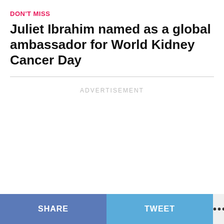DON'T MISS
Juliet Ibrahim named as a global ambassador for World Kidney Cancer Day
ADVERTISEMENT
SHARE   TWEET   •••